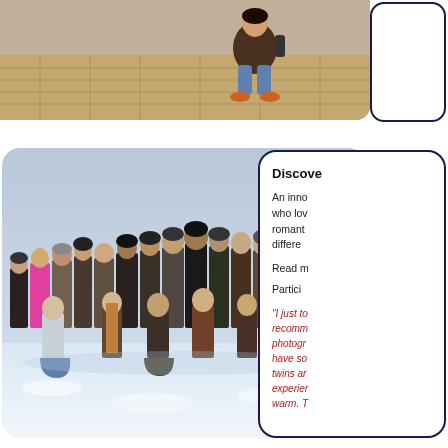[Figure (photo): Top portion of outdoor photo showing person crouching on pavement, cut off at top]
[Figure (photo): Large group photo of approximately 25 people standing in snow in winter clothing, smiling at the camera]
Discove
An inno who lov romant differe
Read m
Partici
"I just to recomm photogr have so twins ar experier warm. T